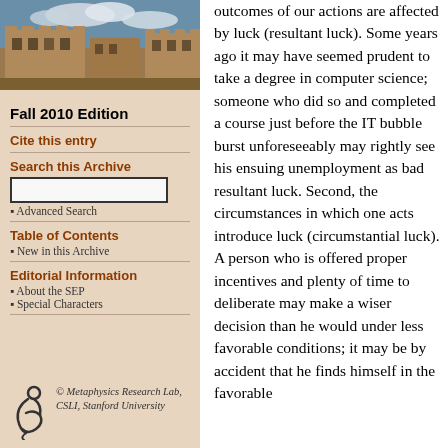[Figure (photo): Photograph of a stone university building with blue sky and clouds]
Fall 2010 Edition
Cite this entry
Search this Archive
Advanced Search
Table of Contents
New in this Archive
Editorial Information
About the SEP
Special Characters
© Metaphysics Research Lab, CSLI, Stanford University
outcomes of our actions are affected by luck (resultant luck). Some years ago it may have seemed prudent to take a degree in computer science; someone who did so and completed a course just before the IT bubble burst unforeseeably may rightly see his ensuing unemployment as bad resultant luck. Second, the circumstances in which one acts introduce luck (circumstantial luck). A person who is offered proper incentives and plenty of time to deliberate may make a wiser decision than he would under less favorable conditions; it may be by accident that he finds himself in the favorable